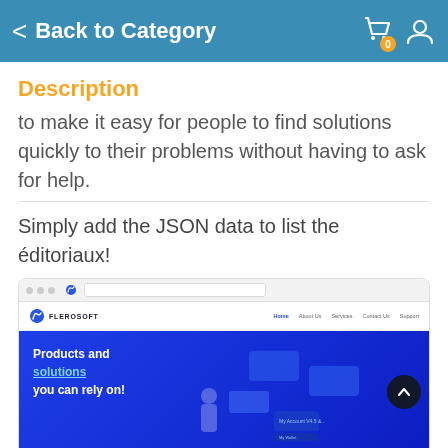Back to Category
Description
to make it easy for people to find solutions quickly to their problems without having to ask for help.
Simply add the JSON data to list the éditoriaux!
[Figure (screenshot): Screenshot of the Flerosoft website showing the homepage with navigation bar (Home, About Us, Services, Contact Us, Support) and hero section with text 'Products and solutions you can rely on!' on a blue background with illustration of a person and UI elements.]